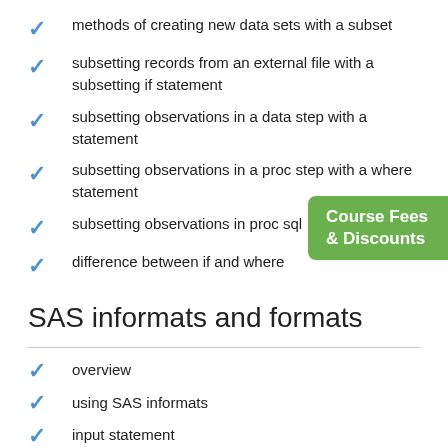methods of creating new data sets with a subset
subsetting records from an external file with a subsetting if statement
subsetting observations in a data step with a statement
subsetting observations in a proc step with a where statement
subsetting observations in proc sql
difference between if and where
SAS informats and formats
overview
using SAS informats
input statement
input function
[Figure (other): Green badge overlay reading 'Course Fees & Discounts']